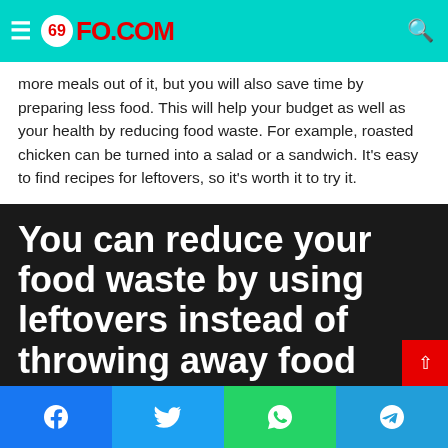69FO.COM
more meals out of it, but you will also save time by preparing less food. This will help your budget as well as your health by reducing food waste. For example, roasted chicken can be turned into a salad or a sandwich. It's easy to find recipes for leftovers, so it's worth it to try it.
You can reduce your food waste by using leftovers instead of throwing away food
Using leftovers is a key way to save money. According to the
Facebook Twitter WhatsApp Telegram